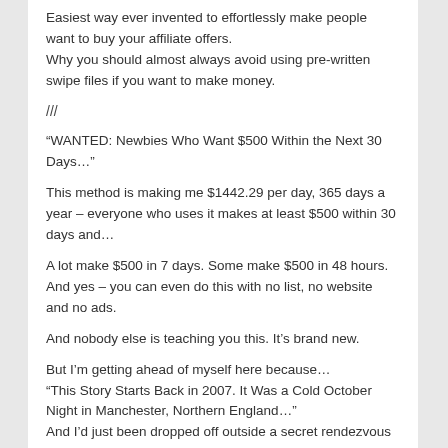Easiest way ever invented to effortlessly make people want to buy your affiliate offers.
Why you should almost always avoid using pre-written swipe files if you want to make money.
///
“WANTED: Newbies Who Want $500 Within the Next 30 Days…”
This method is making me $1442.29 per day, 365 days a year – everyone who uses it makes at least $500 within 30 days and…
A lot make $500 in 7 days. Some make $500 in 48 hours. And yes – you can even do this with no list, no website and no ads.
And nobody else is teaching you this. It’s brand new.
But I’m getting ahead of myself here because…
“This Story Starts Back in 2007. It Was a Cold October Night in Manchester, Northern England…”
And I’d just been dropped off outside a secret rendezvous point and my spider senses were telling me what happened next would